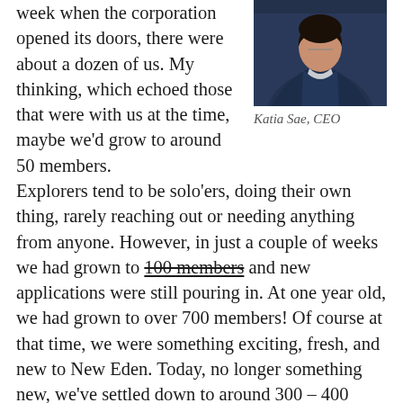week when the corporation opened its doors, there were about a dozen of us. My thinking, which echoed those that were with us at the time, maybe we'd grow to around 50 members.
[Figure (photo): Portrait photo of Katia Sae, CEO, wearing a dark navy uniform with a lanyard]
Katia Sae, CEO
Explorers tend to be solo'ers, doing their own thing, rarely reaching out or needing anything from anyone. However, in just a couple of weeks we had grown to 100 members and new applications were still pouring in. At one year old, we had grown to over 700 members! Of course at that time, we were something exciting, fresh, and new to New Eden. Today, no longer something new, we've settled down to around 300 – 400 members on average as we do prune our ranks to keep active players and to keep ourselves from becoming a warehouse for Alts. Still, that's a healthy number of explorers hanging out together.